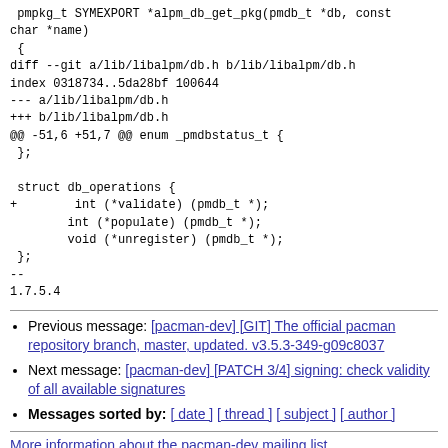pmpkg_t SYMEXPORT *alpm_db_get_pkg(pmdb_t *db, const char *name)
 {
diff --git a/lib/libalpm/db.h b/lib/libalpm/db.h
index 0318734..5da28bf 100644
--- a/lib/libalpm/db.h
+++ b/lib/libalpm/db.h
@@ -51,6 +51,7 @@ enum _pmdbstatus_t {
 };

 struct db_operations {
+        int (*validate) (pmdb_t *);
        int (*populate) (pmdb_t *);
        void (*unregister) (pmdb_t *);
 };
--
1.7.5.4
Previous message: [pacman-dev] [GIT] The official pacman repository branch, master, updated. v3.5.3-349-g09c8037
Next message: [pacman-dev] [PATCH 3/4] signing: check validity of all available signatures
Messages sorted by: [ date ] [ thread ] [ subject ] [ author ]
More information about the pacman-dev mailing list